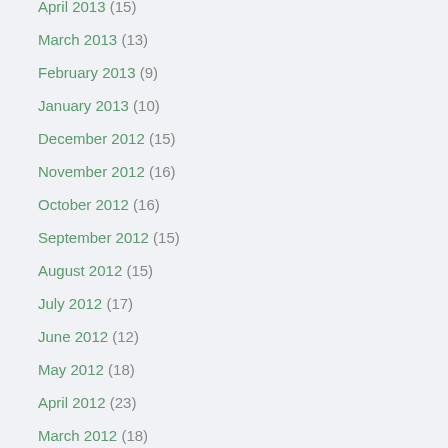April 2013 (15)
March 2013 (13)
February 2013 (9)
January 2013 (10)
December 2012 (15)
November 2012 (16)
October 2012 (16)
September 2012 (15)
August 2012 (15)
July 2012 (17)
June 2012 (12)
May 2012 (18)
April 2012 (23)
March 2012 (18)